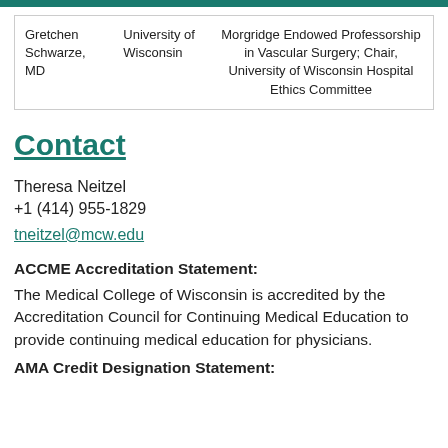|  |  |  |
| --- | --- | --- |
| Gretchen Schwarze, MD | University of Wisconsin | Morgridge Endowed Professorship in Vascular Surgery; Chair, University of Wisconsin Hospital Ethics Committee |
Contact
Theresa Neitzel
+1 (414) 955-1829
tneitzel@mcw.edu
ACCME Accreditation Statement:
The Medical College of Wisconsin is accredited by the Accreditation Council for Continuing Medical Education to provide continuing medical education for physicians.
AMA Credit Designation Statement: